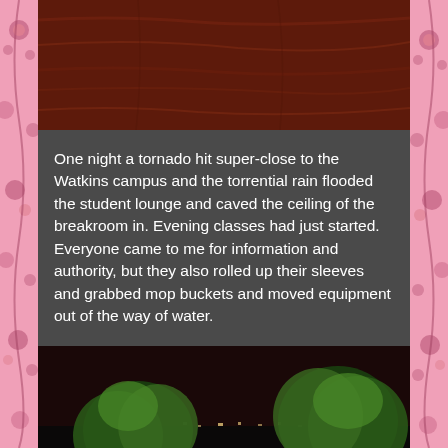[Figure (photo): Close-up photo of dark reddish-brown wood grain texture]
One night a tornado hit super-close to the Watkins campus and the torrential rain flooded the student lounge and caved the ceiling of the breakroom in. Evening classes had just started. Everyone came to me for information and authority, but they also rolled up their sleeves and grabbed mop buckets and moved equipment out of the way of water.
[Figure (photo): Night-time outdoor photo showing green trees illuminated against a dark sky, with city lights visible in the background]